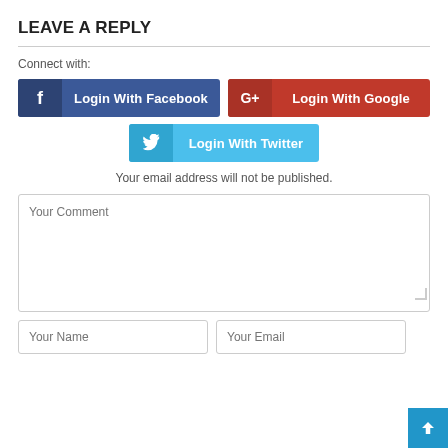LEAVE A REPLY
Connect with:
[Figure (other): Three social login buttons: Login With Facebook (dark blue), Login With Google (red), Login With Twitter (light blue)]
Your email address will not be published.
Your Comment
Your Name
Your Email